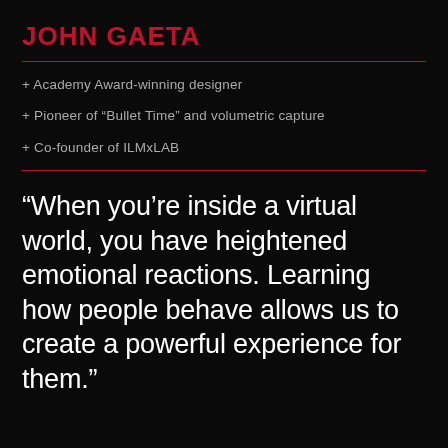JOHN GAETA
+ Academy Award-winning designer
+ Pioneer of “Bullet Time” and volumetric capture
+ Co-founder of ILMxLAB
“When you’re inside a virtual world, you have heightened emotional reactions. Learning how people behave allows us to create a powerful experience for them.”